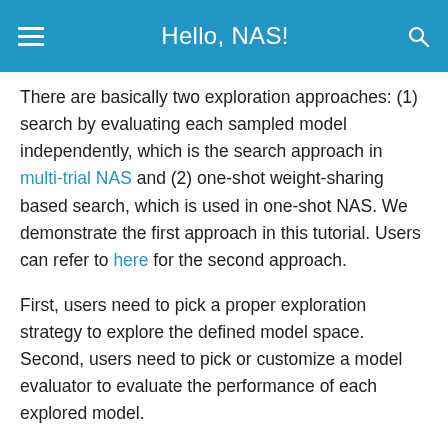Hello, NAS!
There are basically two exploration approaches: (1) search by evaluating each sampled model independently, which is the search approach in multi-trial NAS and (2) one-shot weight-sharing based search, which is used in one-shot NAS. We demonstrate the first approach in this tutorial. Users can refer to here for the second approach.
First, users need to pick a proper exploration strategy to explore the defined model space. Second, users need to pick or customize a model evaluator to evaluate the performance of each explored model.
Pick an exploration strategy
Retiarii supports many exploration strategies.
Simple choosing (in a nutshell) an exploration st...